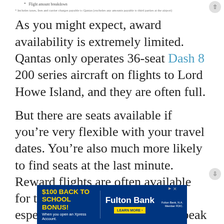* Flight amount breakdown
* Includes taxes, fees and carrier charges payable to Qantas (excludes any amounts payable to third parties at the airport)
As you might expect, award availability is extremely limited. Qantas only operates 36-seat Dash 8 200 series aircraft on flights to Lord Howe Island, and they are often full.
But there are seats available if you’re very flexible with your travel dates. You’re also much more likely to find seats at the last minute. Reward flights are often available for travel in the coming weeks, especially during the winter off-peak season.
[Figure (infographic): Advertisement banner for Fulton Bank: '$100 BACK TO SCHOOL BONUS! When you open an Xpress Account.' with a 'LEARN MORE' button and Fulton Bank logo.]